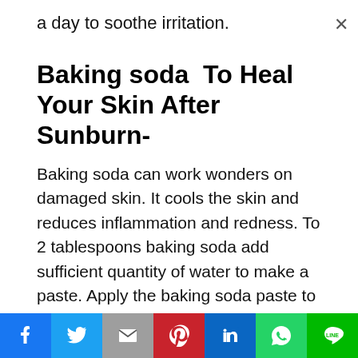a day to soothe irritation.
Baking soda  To Heal Your Skin After Sunburn-
Baking soda can work wonders on damaged skin. It cools the skin and reduces inflammation and redness. To 2 tablespoons baking soda add sufficient quantity of water to make a paste. Apply the baking soda paste to the affected area and leave it for